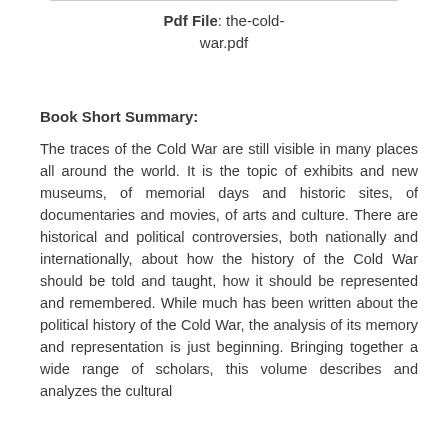Pdf File: the-cold-war.pdf
Book Short Summary:
The traces of the Cold War are still visible in many places all around the world. It is the topic of exhibits and new museums, of memorial days and historic sites, of documentaries and movies, of arts and culture. There are historical and political controversies, both nationally and internationally, about how the history of the Cold War should be told and taught, how it should be represented and remembered. While much has been written about the political history of the Cold War, the analysis of its memory and representation is just beginning. Bringing together a wide range of scholars, this volume describes and analyzes the cultural